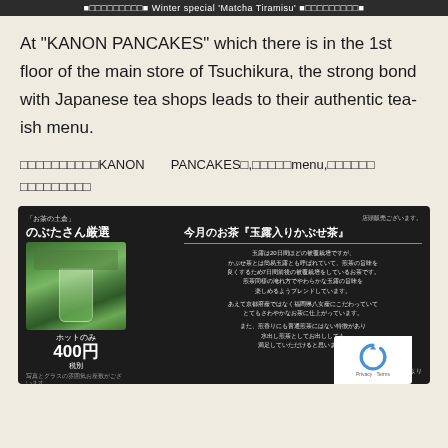■□□□□□□□□□■ Winter special 'Matcha Tiramisu' ■□□□□□□□□□■
At "KANON PANCAKES" which there is in the 1st floor of the main store of Tsuchikura, the strong bond with Japanese tea shops leads to their authentic tea-ish menu.
□□□□□□□□□□KANON　　PANCAKES□,□□□□□menu,□□□□□□□□□□□□□□
[Figure (photo): Dark-background promotional card for a Japanese tea shop showing a green tea drink, price 400円 (hot only), with Japanese text describing the tea selection 'Gyokuro-iri Kabuse-cha' from Fukuoka.]